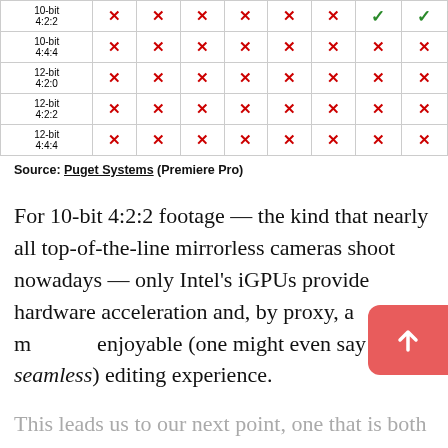|  | Col1 | Col2 | Col3 | Col4 | Col5 | Col6 | Col7 | Col8 |
| --- | --- | --- | --- | --- | --- | --- | --- | --- |
| 10-bit 4:2:2 | ✗ | ✗ | ✗ | ✗ | ✗ | ✗ | ✓ | ✓ |
| 10-bit 4:4:4 | ✗ | ✗ | ✗ | ✗ | ✗ | ✗ | ✗ | ✗ |
| 12-bit 4:2:0 | ✗ | ✗ | ✗ | ✗ | ✗ | ✗ | ✗ | ✗ |
| 12-bit 4:2:2 | ✗ | ✗ | ✗ | ✗ | ✗ | ✗ | ✗ | ✗ |
| 12-bit 4:4:4 | ✗ | ✗ | ✗ | ✗ | ✗ | ✗ | ✗ | ✗ |
Source: Puget Systems (Premiere Pro)
For 10-bit 4:2:2 footage — the kind that nearly all top-of-the-line mirrorless cameras shoot nowadays — only Intel's iGPUs provide hardware acceleration and, by proxy, a more enjoyable (one might even say seamless) editing experience.
This leads us to our next point, one that is both